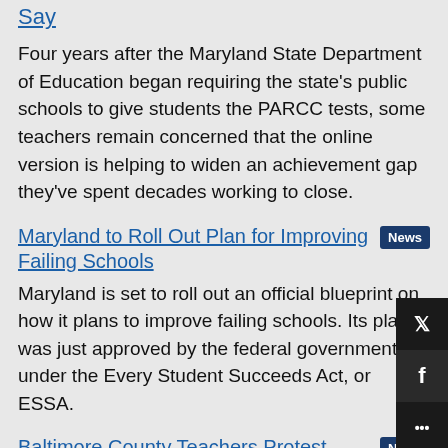Say
Four years after the Maryland State Department of Education began requiring the state's public schools to give students the PARCC tests, some teachers remain concerned that the online version is helping to widen an achievement gap they've spent decades working to close.
Maryland to Roll Out Plan for Improving Failing Schools
Maryland is set to roll out an official blueprint on how it plans to improve failing schools. Its plan was just approved by the federal government under the Every Student Succeeds Act, or ESSA.
Baltimore County Teachers Protest Discipline Problems in Schools
Baltimore County teachers protested the lack of discipline in some schools, saying it is putting teachers at risk of being harmed by their students.